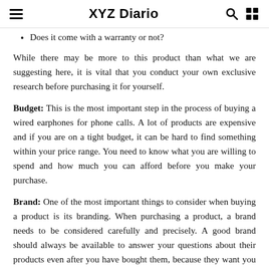XYZ Diario
Does it come with a warranty or not?
While there may be more to this product than what we are suggesting here, it is vital that you conduct your own exclusive research before purchasing it for yourself.
Budget: This is the most important step in the process of buying a wired earphones for phone calls. A lot of products are expensive and if you are on a tight budget, it can be hard to find something within your price range. You need to know what you are willing to spend and how much you can afford before you make your purchase.
Brand: One of the most important things to consider when buying a product is its branding. When purchasing a product, a brand needs to be considered carefully and precisely. A good brand should always be available to answer your questions about their products even after you have bought them, because they want you to